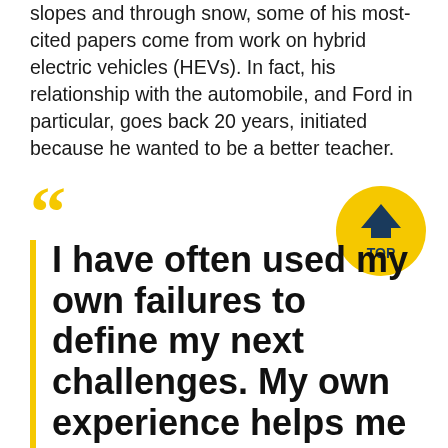slopes and through snow, some of his most-cited papers come from work on hybrid electric vehicles (HEVs). In fact, his relationship with the automobile, and Ford in particular, goes back 20 years, initiated because he wanted to be a better teacher.
I have often used my own failures to define my next challenges. My own experience helps me understand the freedom and community support